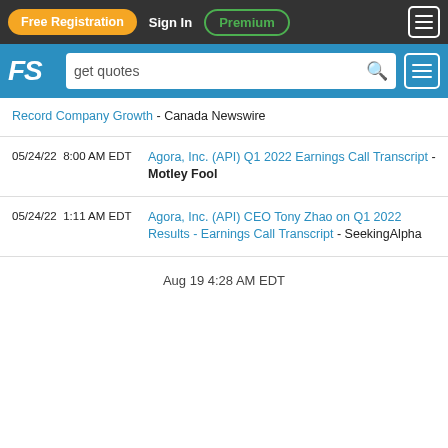Free Registration  Sign In  Premium
[Figure (logo): FS logo with search bar showing 'get quotes']
Record Company Growth - Canada Newswire
05/24/22  8:00 AM EDT  Agora, Inc. (API) Q1 2022 Earnings Call Transcript - Motley Fool
05/24/22  1:11 AM EDT  Agora, Inc. (API) CEO Tony Zhao on Q1 2022 Results - Earnings Call Transcript - SeekingAlpha
Aug 19 4:28 AM EDT